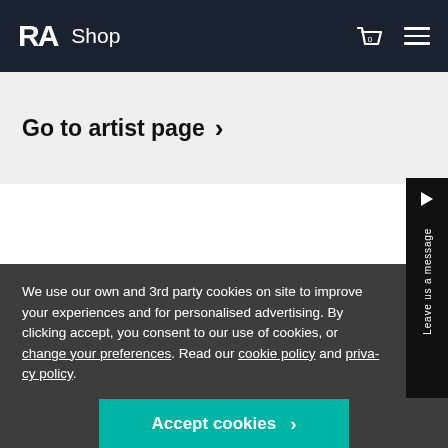RA Shop
Go to artist page >
We use our own and 3rd party cookies on site to improve your experiences and for personalised advertising. By clicking accept, you consent to our use of cookies, or change your preferences. Read our cookie policy and privacy policy.
Accept cookies >